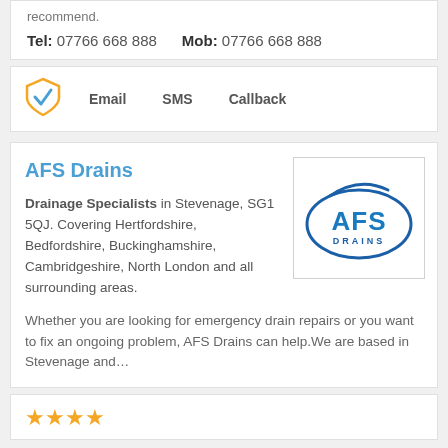recommend.
Tel: 07766 668 888    Mob: 07766 668 888
[Figure (other): Orange shield with blue checkmark icon]
Email   SMS   Callback
AFS Drains
[Figure (logo): AFS Drains logo — blue oval with AFS text and DRAINS below in blue]
Drainage Specialists in Stevenage, SG1 5QJ. Covering Hertfordshire, Bedfordshire, Buckinghamshire, Cambridgeshire, North London and all surrounding areas.
Whether you are looking for emergency drain repairs or you want to fix an ongoing problem, AFS Drains can help.We are based in Stevenage and…
[Figure (other): Four gold/yellow star rating icons]